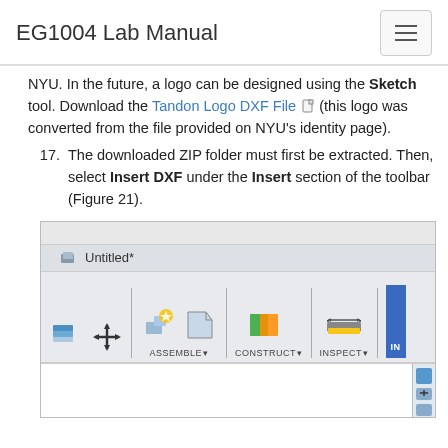EG1004 Lab Manual
NYU. In the future, a logo can be designed using the Sketch tool. Download the Tandon Logo DXF File (this logo was converted from the file provided on NYU's identity page).
17. The downloaded ZIP folder must first be extracted. Then, select Insert DXF under the Insert section of the toolbar (Figure 21).
[Figure (screenshot): Screenshot of Fusion 360 CAD software toolbar showing Untitled* file, with toolbar sections: ASSEMBLE, CONSTRUCT, INSPECT, and INSERT highlighted in blue on the right side. Icons visible include stack/move tools, assemble icons, construct icons, and inspect icons.]